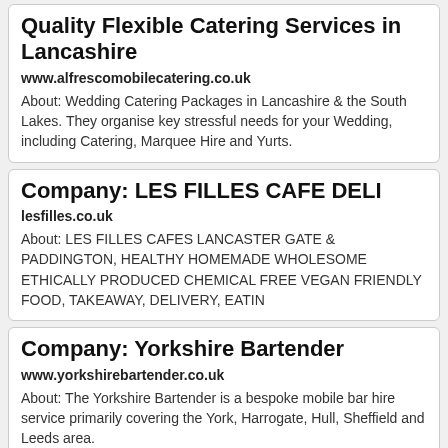Quality Flexible Catering Services in Lancashire
www.alfrescomobilecatering.co.uk
About: Wedding Catering Packages in Lancashire & the South Lakes. They organise key stressful needs for your Wedding, including Catering, Marquee Hire and Yurts.
Company: LES FILLES CAFE DELI
lesfilles.co.uk
About: LES FILLES CAFES LANCASTER GATE & PADDINGTON, HEALTHY HOMEMADE WHOLESOME ETHICALLY PRODUCED CHEMICAL FREE VEGAN FRIENDLY FOOD, TAKEAWAY, DELIVERY, EATIN
Company: Yorkshire Bartender
www.yorkshirebartender.co.uk
About: The Yorkshire Bartender is a bespoke mobile bar hire service primarily covering the York, Harrogate, Hull, Sheffield and Leeds area.